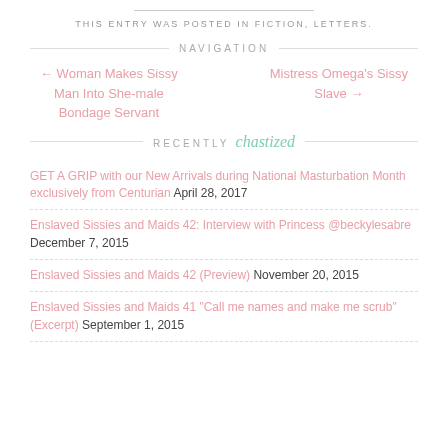THIS ENTRY WAS POSTED IN FICTION, LETTERS.
NAVIGATION
← Woman Makes Sissy Man Into She-male Bondage Servant
Mistress Omega's Sissy Slave →
RECENTLY chastized
GET A GRIP with our New Arrivals during National Masturbation Month exclusively from Centurian April 28, 2017
Enslaved Sissies and Maids 42: Interview with Princess @beckylesabre December 7, 2015
Enslaved Sissies and Maids 42 (Preview) November 20, 2015
Enslaved Sissies and Maids 41 "Call me names and make me scrub" (Excerpt) September 1, 2015